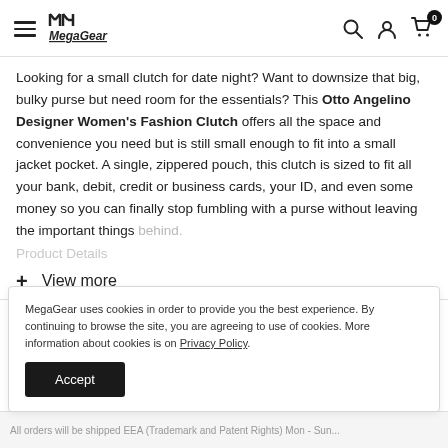MegaGear navigation bar with hamburger menu, MegaGear logo, search icon, account icon, and cart icon with badge 0
Looking for a small clutch for date night? Want to downsize that big, bulky purse but need room for the essentials? This Otto Angelino Designer Women's Fashion Clutch offers all the space and convenience you need but is still small enough to fit into a small jacket pocket. A single, zippered pouch, this clutch is sized to fit all your bank, debit, credit or business cards, your ID, and even some money so you can finally stop fumbling with a purse without leaving the important things behind.
View more
MegaGear uses cookies in order to provide you the best experience. By continuing to browse the site, you are agreeing to use of cookies. More information about cookies is on Privacy Policy.
Accept